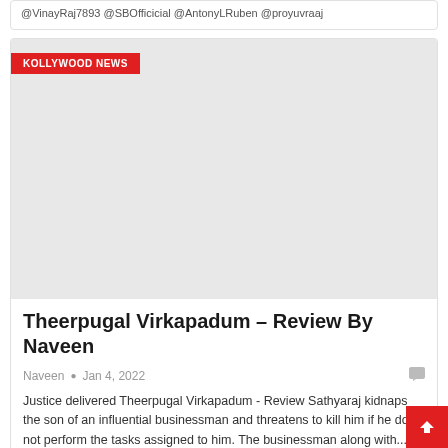@VinayRaj7893 @SBOfficicial @AntonyLRuben @proyuvraaj
[Figure (photo): Gray placeholder image for a Kollywood news article about Theerpugal Virkapadum with a red KOLLYWOOD NEWS badge overlay in the top-left corner]
Theerpugal Virkapadum – Review By Naveen
Naveen • Jan 4, 2022
Justice delivered Theerpugal Virkapadum - Review Sathyaraj kidnaps the son of an influential businessman and threatens to kill him if he does not perform the tasks assigned to him. The businessman along with...